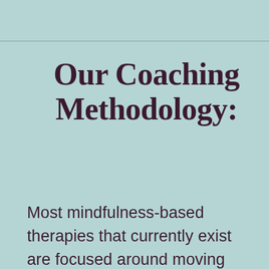Our Coaching Methodology:
Most mindfulness-based therapies that currently exist are focused around moving away from a set of symptoms like anxiety or depression